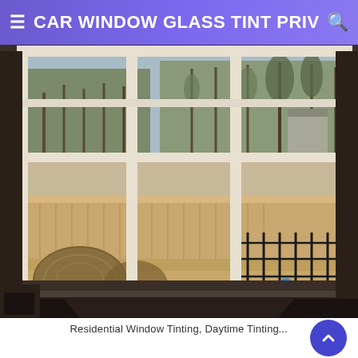CAR WINDOW GLASS TINT PRIV
[Figure (photo): Interior view through large multi-pane white-framed windows looking out at a backyard with sandy/dirt ground, a wooden privacy fence, tall pine trees, some large rounded hay bales on the left, a black iron fence on the right, and two small colorful balls (blue and white) on the ground. The room interior is dimly lit in the foreground.]
Residential Window Tinting, Daytime Tinting...